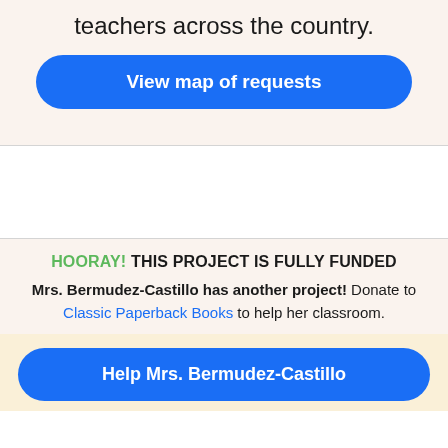teachers across the country.
View map of requests
HOORAY! THIS PROJECT IS FULLY FUNDED
Mrs. Bermudez-Castillo has another project! Donate to Classic Paperback Books to help her classroom.
Help Mrs. Bermudez-Castillo